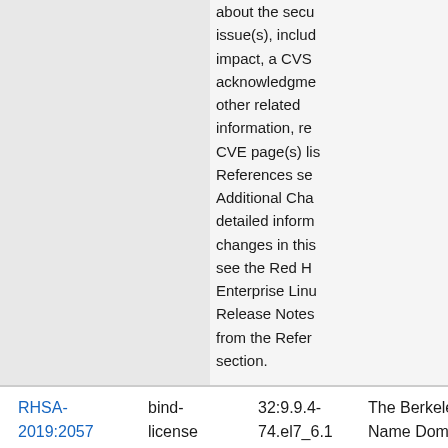about the security issue(s), including the impact, a CVSS score, acknowledgments, and other related information, refer to the CVE page(s) listed in the References section. For Additional Changes, detailed information on changes in this release, see the Red Hat Enterprise Linux Release Notes linked from the References section.
| Advisory | Package | Version | Description |
| --- | --- | --- | --- |
| RHSA-2019:2057 | bind-license | 32:9.9.4-74.el7_6.1 | The Berkeley Internet Name Domain |